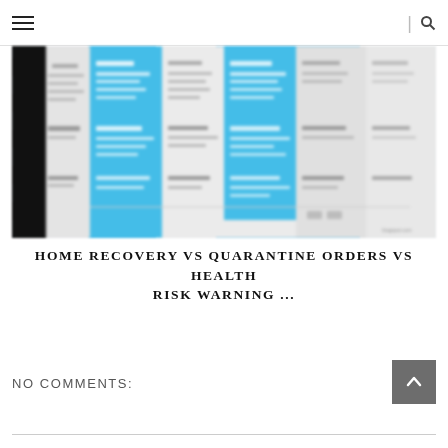☰ | 🔍
[Figure (screenshot): Blurred screenshot of a comparison table showing Home Recovery vs Quarantine Orders vs Health Risk Warning categories, with alternating blue and white columns containing text entries]
HOME RECOVERY VS QUARANTINE ORDERS VS HEALTH RISK WARNING ...
NO COMMENTS:
Post a Comment